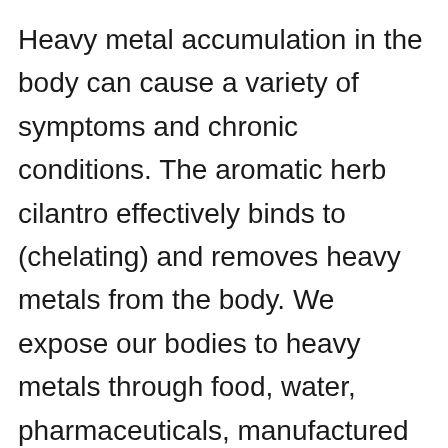Heavy metal accumulation in the body can cause a variety of symptoms and chronic conditions. The aromatic herb cilantro effectively binds to (chelating) and removes heavy metals from the body. We expose our bodies to heavy metals through food, water, pharmaceuticals, manufactured products, pollution, and other sources. Cilantro contains chemical compounds that act as natural cleaners. They bind to toxic metals and transport them quickly out of the body via excretion.